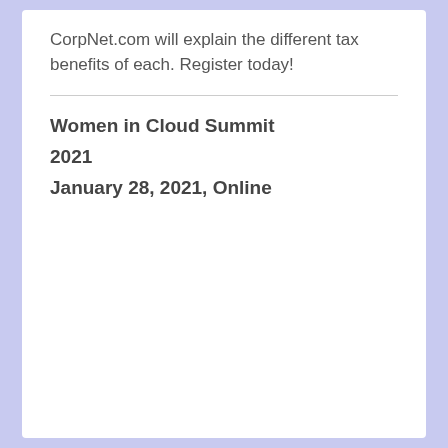CorpNet.com will explain the different tax benefits of each. Register today!
Women in Cloud Summit
2021
January 28, 2021, Online